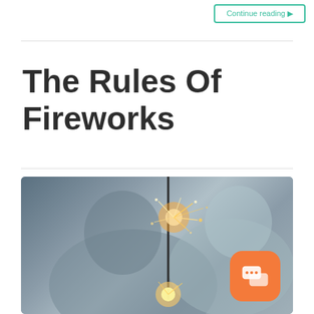Continue reading ▶
The Rules Of Fireworks
[Figure (photo): A man and a child looking at a lit sparkler, blurred background, close-up photo]